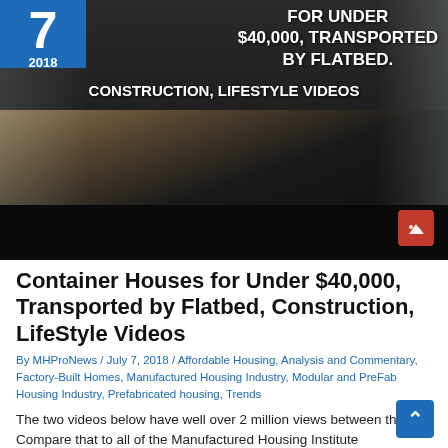[Figure (photo): Video thumbnail showing interior of a container house with dark countertop, kitchen area, and wood accents. Blue badge showing number 7 and year 2018 in top-left. White text overlay reading 'FOR UNDER $40,000, TRANSPORTED BY FLATBED.' and 'CONSTRUCTION, LIFESTYLE VIDEOS'. Small mountain/play icon in bottom-right corner.]
Container Houses for Under $40,000, Transported by Flatbed, Construction, LifeStyle Videos
By MHProNews / July 7, 2018 / Affordable Housing, Analysis and Commentary, Factory-Built Homes, Manufactured Housing Industry, Modular and PreFab Housing Industry, Prefabricated housing, Trends
The two videos below have well over 2 million views between them.  Compare that to all of the Manufactured Housing Institute